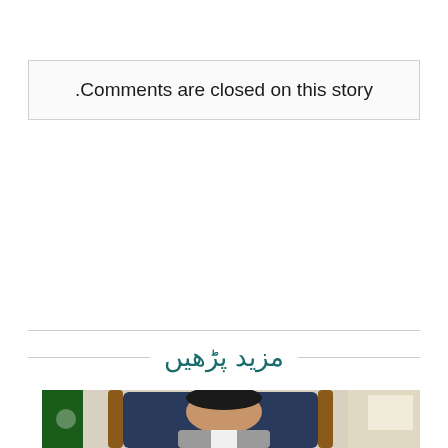.Comments are closed on this story
مزید پڑھیں
[Figure (photo): A man in a suit sitting in an ornate wooden chair with blue leather upholstery, with a Pakistani flag visible in the background on the left side.]